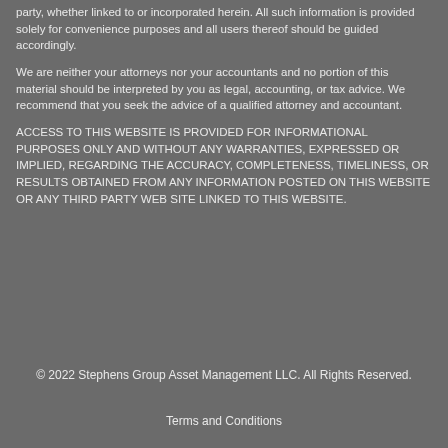party, whether linked to or incorporated herein. All such information is provided solely for convenience purposes and all users thereof should be guided accordingly.
We are neither your attorneys nor your accountants and no portion of this material should be interpreted by you as legal, accounting, or tax advice. We recommend that you seek the advice of a qualified attorney and accountant.
ACCESS TO THIS WEBSITE IS PROVIDED FOR INFORMATIONAL PURPOSES ONLY AND WITHOUT ANY WARRANTIES, EXPRESSED OR IMPLIED, REGARDING THE ACCURACY, COMPLETENESS, TIMELINESS, OR RESULTS OBTAINED FROM ANY INFORMATION POSTED ON THIS WEBSITE OR ANY THIRD PARTY WEB SITE LINKED TO THIS WEBSITE.
© 2022 Stephens Group Asset Management LLC. All Rights Reserved.
Terms and Conditions